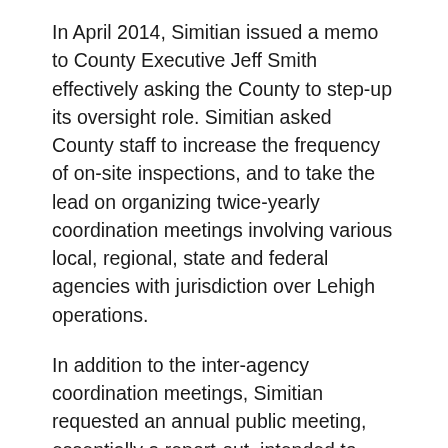In April 2014, Simitian issued a memo to County Executive Jeff Smith effectively asking the County to step-up its oversight role. Simitian asked County staff to increase the frequency of on-site inspections, and to take the lead on organizing twice-yearly coordination meetings involving various local, regional, state and federal agencies with jurisdiction over Lehigh operations.
In addition to the inter-agency coordination meetings, Simitian requested an annual public meeting, essentially a report-out, intended to inform the public on recent activities by the various oversight agencies and an opportunity for the public to pose questions.
“Given that almost a dozen regulatory agencies have a role to play at the site, I thought it was a